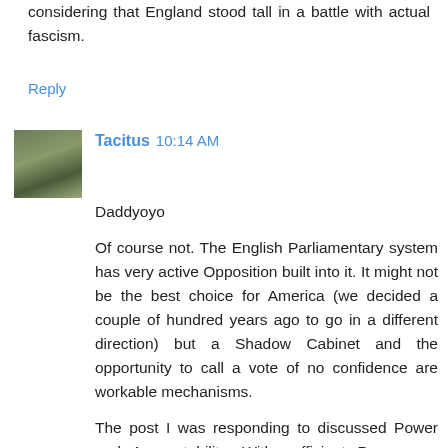considering that England stood tall in a battle with actual fascism.
Reply
Tacitus 10:14 AM
Daddyoyo
Of course not. The English Parliamentary system has very active Opposition built into it. It might not be the best choice for America (we decided a couple of hundred years ago to go in a different direction) but a Shadow Cabinet and the opportunity to call a vote of no confidence are workable mechanisms.
The post I was responding to discussed Power and Accountability. With sufficient Power you don't have Accountability. (true for fascism but also for other "isms")
But other systems seem to have merits.